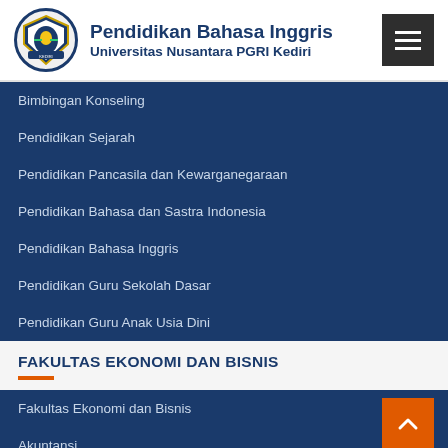Pendidikan Bahasa Inggris Universitas Nusantara PGRI Kediri
Bimbingan Konseling
Pendidikan Sejarah
Pendidikan Pancasila dan Kewarganegaraan
Pendidikan Bahasa dan Sastra Indonesia
Pendidikan Bahasa Inggris
Pendidikan Guru Sekolah Dasar
Pendidikan Guru Anak Usia Dini
FAKULTAS EKONOMI DAN BISNIS
Fakultas Ekonomi dan Bisnis
Akuntansi